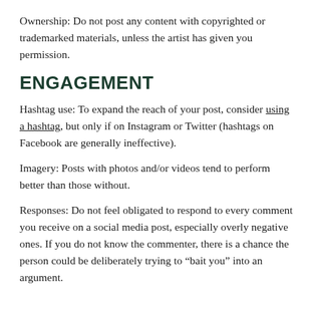Ownership: Do not post any content with copyrighted or trademarked materials, unless the artist has given you permission.
ENGAGEMENT
Hashtag use: To expand the reach of your post, consider using a hashtag, but only if on Instagram or Twitter (hashtags on Facebook are generally ineffective).
Imagery: Posts with photos and/or videos tend to perform better than those without.
Responses: Do not feel obligated to respond to every comment you receive on a social media post, especially overly negative ones. If you do not know the commenter, there is a chance the person could be deliberately trying to “bait you” into an argument.